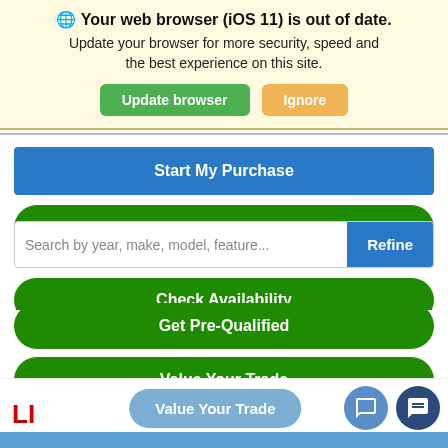[Figure (screenshot): Browser update warning banner with globe icon, bold title 'Your web browser (iOS 11) is out of date.', subtitle text, and two buttons: 'Update browser' (green) and 'Ignore' (orange)]
[Figure (screenshot): Mobile website UI showing buttons: 'Start My Purchase' (blue), 'Get Internet Pricing' (green, partially hidden), a search bar with 'Search by year, make, model, feature...' placeholder and 'Refine' button, 'Check Availability' (green, partially hidden), 'Get Pre-Qualified' (green), 'Value Your Trade' (green), and a floating bottom bar with 'Value Your Trade' pill button, chat/message icons, and a partial logo.]